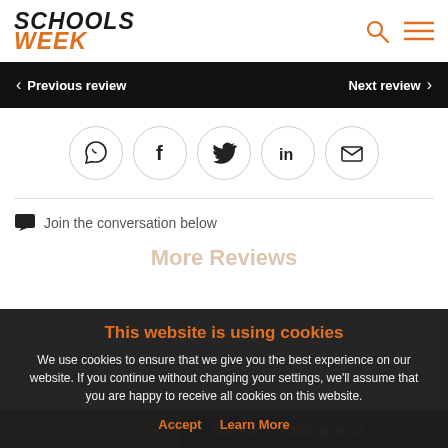[Figure (logo): Schools Week logo with 'SCHOOLS' in bold black italic and 'WEEK' in bold orange italic, search and hamburger icons top right]
< Previous review    Next review >
[Figure (infographic): Row of 5 social sharing icon circles: WhatsApp, Facebook, Twitter, LinkedIn, Email]
Join the conversation below
This website is using cookies
We use cookies to ensure that we give you the best experience on our website. If you continue without changing your settings, we'll assume that you are happy to receive all cookies on this website.
Accept    Learn More
More Reviews
Summer reading, and